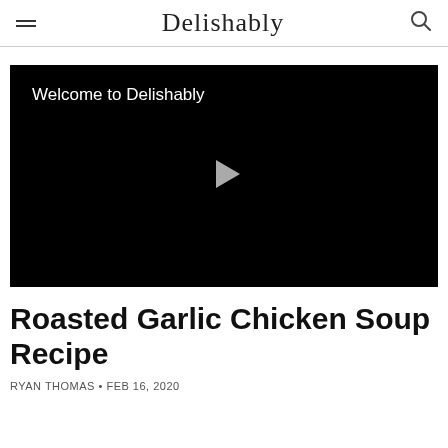Delishably
[Figure (screenshot): Video player with black background showing 'Welcome to Delishably' text and a gray play button triangle in the center]
Roasted Garlic Chicken Soup Recipe
RYAN THOMAS • FEB 16, 2020